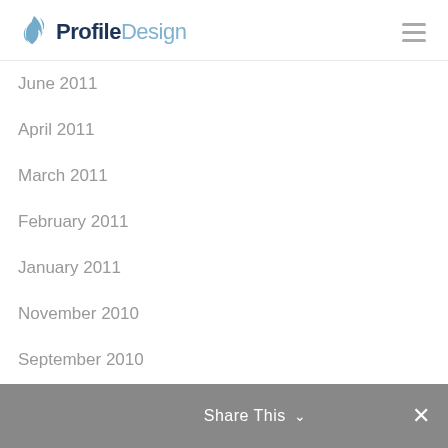Profile Design
June 2011
April 2011
March 2011
February 2011
January 2011
November 2010
September 2010
August 2010
July 2010
CATEGORIES
Brochure Design
Displays & Signage
Share This